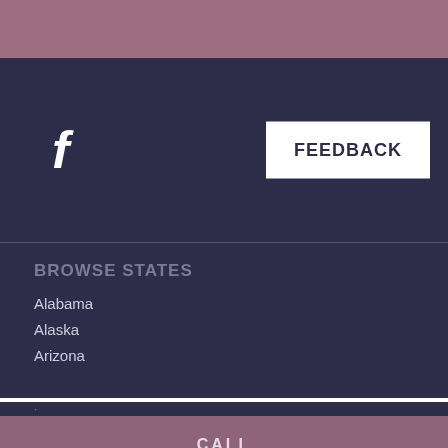[Figure (logo): Facebook logo icon (f) in white on dark navy background]
FEEDBACK
BROWSE STATES
Alabama
Alaska
Arizona
CALL
EMAIL